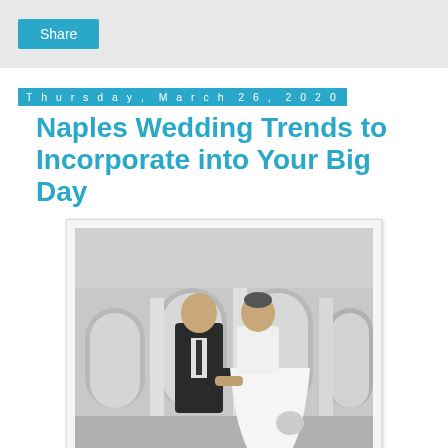Share
Thursday, March 26, 2020
Naples Wedding Trends to Incorporate into Your Big Day
[Figure (photo): Black and white photo of a bride and groom holding hands and smiling at each other in front of arched columns.]
Wedding trends are a wonderful way to make your big day your own! Each year, new trends are debuted in the wedding world, and couples are certainly taking advantage of them. After all, your big day is a once in a lifetime experience, and deserves to showcase one of a kind details